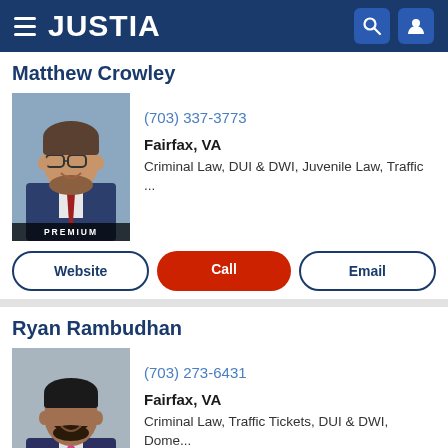[Figure (screenshot): Justia website header with hamburger menu, JUSTIA logo, search icon, and user icon on dark blue background]
Matthew Crowley
[Figure (photo): Professional headshot of Matthew Crowley, a man with glasses and beard wearing a suit and red tie. PREMIUM badge at bottom.]
(703) 337-3773
Fairfax, VA
Criminal Law, DUI & DWI, Juvenile Law, Traffic ...
Website
Call
Email
Ryan Rambudhan
[Figure (photo): Professional headshot of Ryan Rambudhan, a man with beard wearing a suit and pink tie. PREMIUM badge at bottom.]
(703) 273-6431
Fairfax, VA
Criminal Law, Traffic Tickets, DUI & DWI, Dome...
Website
Call
Email